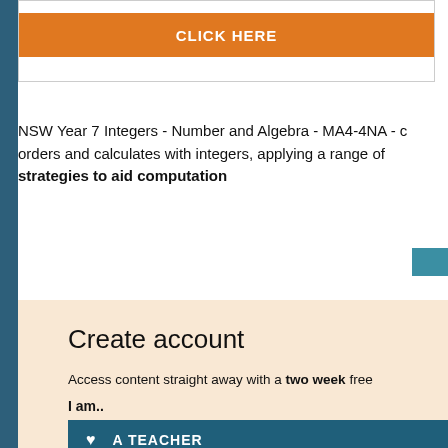[Figure (other): Orange button with white bold text 'CLICK HERE' inside a bordered box]
NSW Year 7 Integers - Number and Algebra - MA4-4NA - c orders and calculates with integers, applying a range of strategies to aid computation
Create account
Access content straight away with a two week free
I am..
A TEACHER